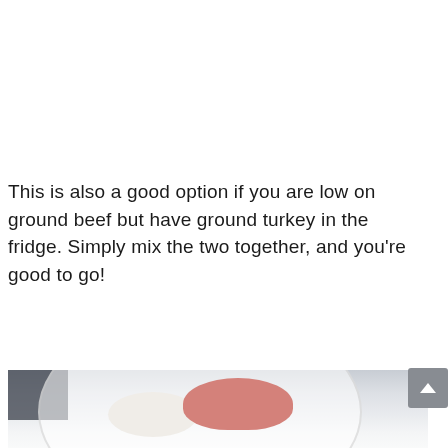This is also a good option if you are low on ground beef but have ground turkey in the fridge. Simply mix the two together, and you're good to go!
[Figure (photo): Overhead photo of a white ceramic plate on a light grey surface with a dark cloth napkin in the upper left corner. The plate holds a mound of raw ground beef/turkey (pink-red) and a mound of white ground meat with a sprig of herbs.]